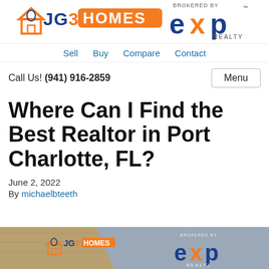[Figure (logo): JG3 Homes brokered by eXp Realty logo header]
Sell  Buy  Compare  Contact
Call Us! (941) 916-2859
Where Can I Find the Best Realtor in Port Charlotte, FL?
June 2, 2022
By michaelbteeth
[Figure (logo): JG3 Homes eXp Realty banner image at bottom]